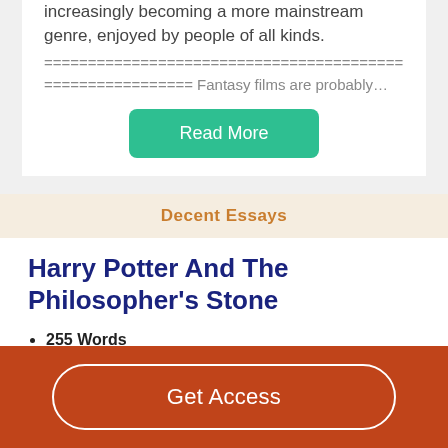increasingly becoming a more mainstream genre, enjoyed by people of all kinds.
===============================================
================= Fantasy films are probably…
Read More
Decent Essays
Harry Potter And The Philosopher's Stone
255 Words
2 Pages
Get Access